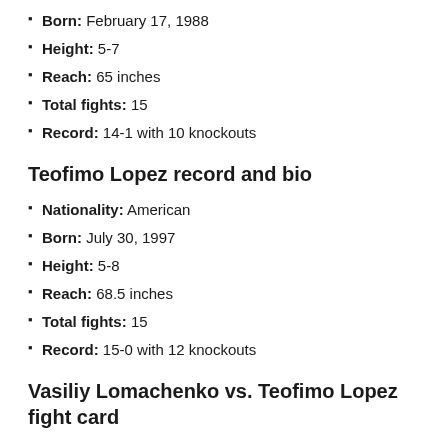Born: February 17, 1988
Height: 5-7
Reach: 65 inches
Total fights: 15
Record: 14-1 with 10 knockouts
Teofimo Lopez record and bio
Nationality: American
Born: July 30, 1997
Height: 5-8
Reach: 68.5 inches
Total fights: 15
Record: 15-0 with 12 knockouts
Vasiliy Lomachenko vs. Teofimo Lopez fight card